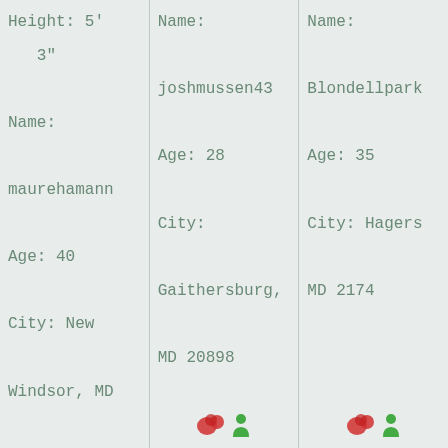Height: 5'
3"

Name:

maurehamann

Age: 40

City: New

Windsor, MD
Name:

joshmussen43

Age: 28

City:

Gaithersburg,

MD 20898
Name:

Blondellpark...

Age: 35

City: Hagers...

MD 2174...